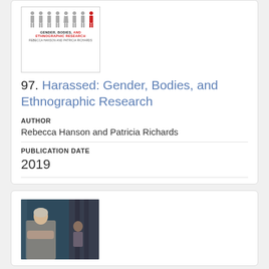[Figure (photo): Book cover of 'Harassed: Gender, Bodies, and Ethnographic Research' by Rebecca Hanson and Patricia Richards, showing human figure icons]
97. Harassed: Gender, Bodies, and Ethnographic Research
AUTHOR
Rebecca Hanson and Patricia Richards
PUBLICATION DATE
2019
[Figure (photo): Photograph showing a woman seated indoors with a child in the background, in a room with teal/dark colored walls and curtains]